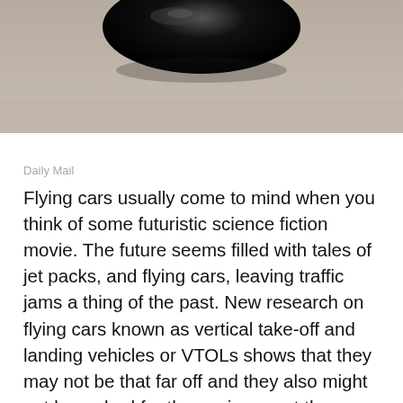[Figure (photo): Close-up photo of a dark black glossy car side mirror or spoon-like object against a muted gray/beige background surface]
Daily Mail
Flying cars usually come to mind when you think of some futuristic science fiction movie. The future seems filled with tales of jet packs, and flying cars, leaving traffic jams a thing of the past. New research on flying cars known as vertical take-off and landing vehicles or VTOLs shows that they may not be that far off and they also might not be as bad for the environment than once thought. The parent company of Volvo is also hard at work on the Transition which is a traditional car and a plane all in one. Read on to learn more about these two vehicles hoping to make history.